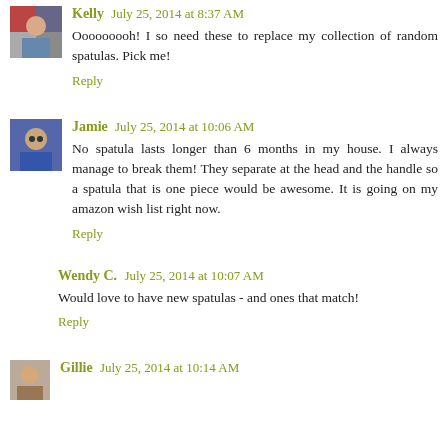Kelly July 25, 2014 at 8:37 AM
Ooooooooh! I so need these to replace my collection of random spatulas. Pick me!
Reply
Jamie July 25, 2014 at 10:06 AM
No spatula lasts longer than 6 months in my house. I always manage to break them! They separate at the head and the handle so a spatula that is one piece would be awesome. It is going on my amazon wish list right now.
Reply
Wendy C. July 25, 2014 at 10:07 AM
Would love to have new spatulas - and ones that match!
Reply
Gillie July 25, 2014 at 10:14 AM